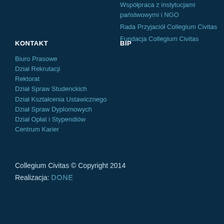Współpraca z instytucjami państwowymi i NGO
Rada Przyjaciół Collegium Civitas
Fundacja Collegium Civitas
KONTAKT
BIP
Biuro Prasowe
Dział Rekrutacji
Rektorat
Dział Spraw Studenckich
Dział Kształcenia Ustawicznego
Dział Spraw Dyplomowych
Dział Opłat i Stypendiów
Centrum Karier
Collegium Civitas © Copyright 2014
Realizacja: DONE